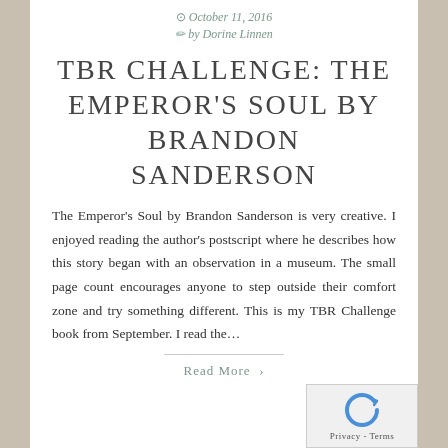October 11, 2016 by Dorine Linnen
TBR CHALLENGE: THE EMPEROR'S SOUL BY BRANDON SANDERSON
The Emperor's Soul by Brandon Sanderson is very creative. I enjoyed reading the author's postscript where he describes how this story began with an observation in a museum. The small page count encourages anyone to step outside their comfort zone and try something different. This is my TBR Challenge book from September. I read the…
Read More ›